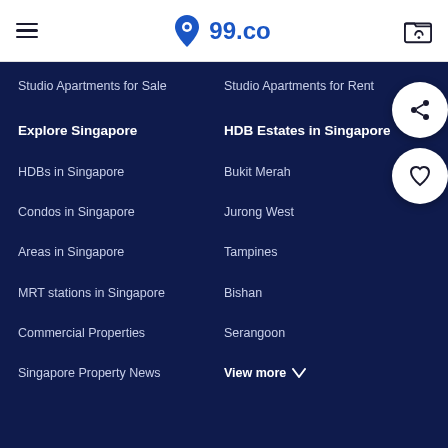99.co
Studio Apartments for Sale
Studio Apartments for Rent
Explore Singapore
HDB Estates in Singapore
HDBs in Singapore
Bukit Merah
Condos in Singapore
Jurong West
Areas in Singapore
Tampines
MRT stations in Singapore
Bishan
Commercial Properties
Serangoon
Singapore Property News
View more ∨